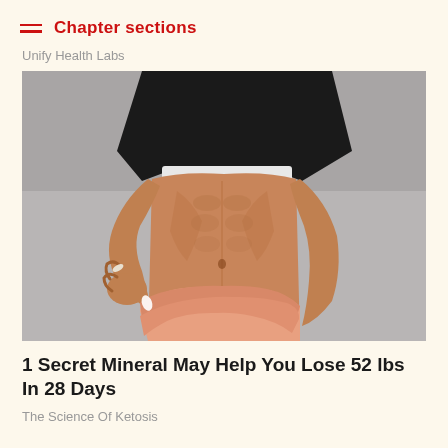Chapter sections
Unify Health Labs
[Figure (photo): Close-up of a fit person's toned midsection/abdomen, wearing a black sports bra and peach/pink athletic shorts, pulling the waistband of the shorts away from their body, against a grey background.]
1 Secret Mineral May Help You Lose 52 lbs In 28 Days
The Science Of Ketosis